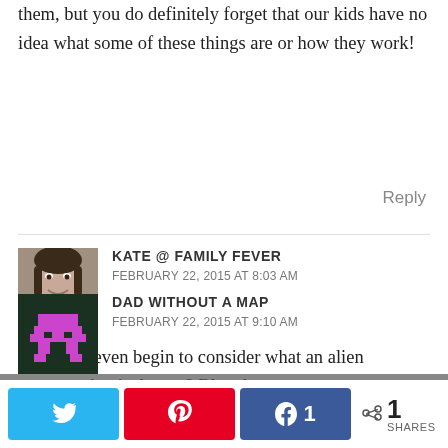them, but you do definitely forget that our kids have no idea what some of these things are or how they work!
Reply
KATE @ FAMILY FEVER
FEBRUARY 22, 2015 AT 8:03 AM
You don't even begin to consider what an alien prospect that is do you? Bless her.
Reply
DAD WITHOUT A MAP
FEBRUARY 22, 2015 AT 9:10 AM